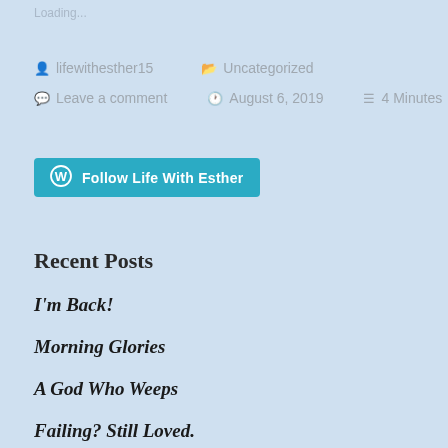Loading...
lifewithesther15   Uncategorized
Leave a comment   August 6, 2019   4 Minutes
[Figure (other): Follow Life With Esther button with WordPress logo]
Recent Posts
I'm Back!
Morning Glories
A God Who Weeps
Failing? Still Loved.